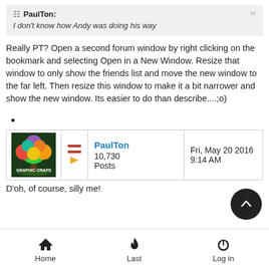PaulTon: I don't know how Andy was doing his way
Really PT?  Open a second forum window by right clicking on the bookmark and selecting Open in a New Window.  Resize that window to only show the friends list and move the new window to the far left.  Then resize this window to make it a bit narrower and show the new window.  Its easier to do than describe....;o)
•
| avatar | flags | user info | date |
| --- | --- | --- | --- |
| [image] | [flags] | PaulTon
10,730
Posts | Fri, May 20 2016
9:14 AM |
D'oh, of course, silly me!
Home  Last  Log in